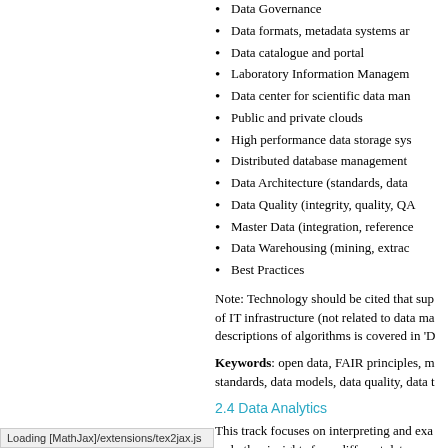Data Governance
Data formats, metadata systems ar…
Data catalogue and portal
Laboratory Information Managem…
Data center for scientific data man…
Public and private clouds
High performance data storage sys…
Distributed database management…
Data Architecture (standards, data…
Data Quality (integrity, quality, QA…
Master Data (integration, reference…
Data Warehousing (mining, extrac…
Best Practices
Note: Technology should be cited that sup… of IT infrastructure (not related to data ma… descriptions of algorithms is covered in 'D…
Keywords: open data, FAIR principles, m… standards, data models, data quality, data t…
2.4 Data Analytics
This track focuses on interpreting and exa… and other insights from different data sour… themselves. Data can be analyzed on-line,… insights, inferring conclusions and represe…
This track is linked to the Tracks 'Experim…
Loading [MathJax]/extensions/tex2jax.js